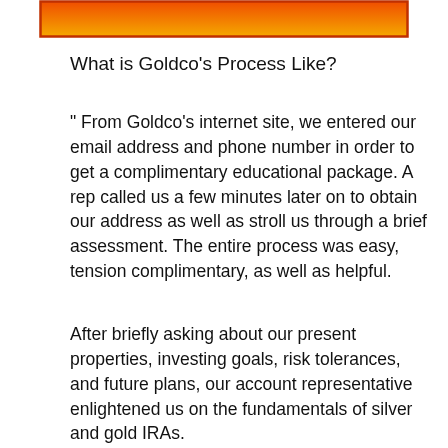[Figure (other): Orange-to-yellow gradient banner/logo bar]
What is Goldco’s Process Like?
“ From Goldco’s internet site, we entered our email address and phone number in order to get a complimentary educational package. A rep called us a few minutes later on to obtain our address as well as stroll us through a brief assessment. The entire process was easy, tension complimentary, as well as helpful.
After briefly asking about our present properties, investing goals, risk tolerances, and future plans, our account representative enlightened us on the fundamentals of silver and gold IRAs.